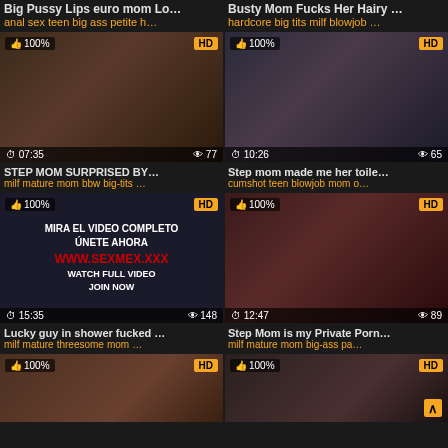Big Pussy Lips euro mom Lo…
Busty Mom Fucks Her Hairy …
anal sex teen big ass petite h…
hardcore big tits milf blowjob …
[Figure (screenshot): Video thumbnail 100% HD, duration 07:35, views 77]
[Figure (screenshot): Video thumbnail 100% HD, duration 10:26, views 65]
STEP MOM SURPRISED BY…
Step mom made me her toile…
milf mature mom bbw big-tits …
cumshot teen blowjob mom o…
[Figure (screenshot): Video thumbnail 100% HD MIRA EL VIDEO COMPLETO UNETE AHORA www.SEXMEX.xxx WATCH FULL VIDEO JOIN NOW, duration 15:35, views 148]
[Figure (screenshot): Video thumbnail 100% HD, duration 12:47, views 89]
Lucky guy in shower fucked …
Step Mom is my Private Porn…
milf mature threesome mom …
milf mature mom big-ass pa…
[Figure (screenshot): Video thumbnail 100% HD, partial view at bottom]
[Figure (screenshot): Video thumbnail 100% HD, partial view at bottom, scroll-up button visible]